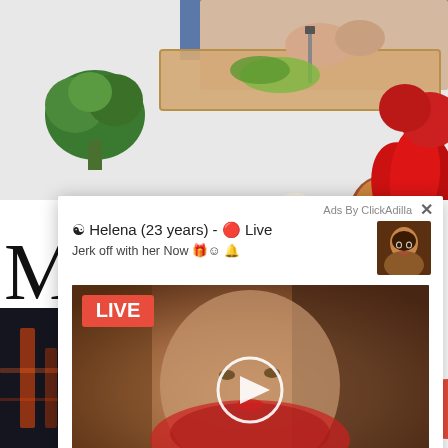[Figure (photo): Photo of hands cutting vegetables on a cutting board, with broccoli, tomatoes, garlic, onion, herbs, and red peppers visible]
Mo
[Figure (photo): Dark background photo, possibly food or abstract image]
[Figure (screenshot): Ad overlay from ClickAdilla featuring Helena (23 years) - Live. Text: Jerk off with her Now. Contains a LIVE video thumbnail with a play button.]
Ads By ClickAdilla
☯ Helena (23 years) - 🔴 Live
Jerk off with her Now 🎁☺ 🔔
LIVE
ccp